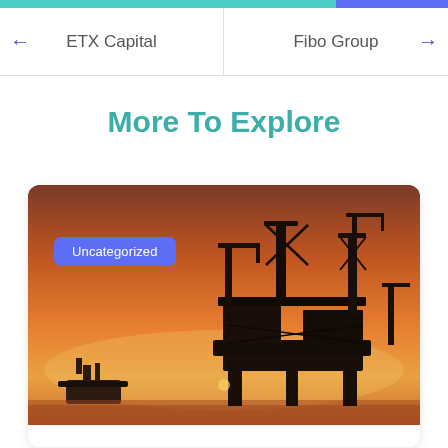ETX Capital | Fibo Group
More To Explore
[Figure (photo): Oil rig / offshore platform silhouette against an orange sunset sky, with a ship in the background. A purple 'Uncategorized' badge is overlaid on the top-left of the image.]